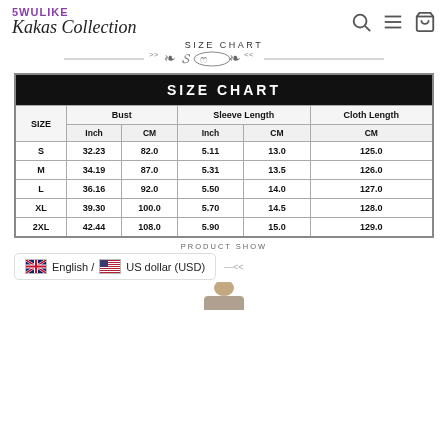5WULIKE Kakas Collection
SIZE CHART
| SIZE | Bust Inch | Bust CM | Sleeve Length Inch | Sleeve Length CM | Cloth Length CM |
| --- | --- | --- | --- | --- | --- |
| S | 32.23 | 82.0 | 5.11 | 13.0 | 125.0 |
| M | 34.19 | 87.0 | 5.31 | 13.5 | 126.0 |
| L | 36.16 | 92.0 | 5.50 | 14.0 | 127.0 |
| XL | 39.30 | 100.0 | 5.70 | 14.5 | 128.0 |
| 2XL | 42.44 | 108.0 | 5.90 | 15.0 | 129.0 |
PRODUCT SHOW
English / US dollar (USD)